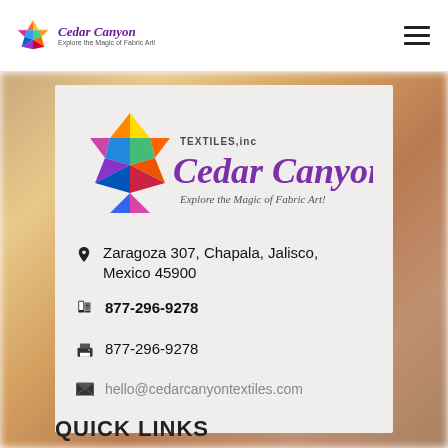Cedar Canyon Textiles, inc — Explore the Magic of Fabric Art!
[Figure (logo): Cedar Canyon Textiles, inc logo with colorful geometric star and cursive text]
Zaragoza 307, Chapala, Jalisco, Mexico 45900
877-296-9278
877-296-9278
hello@cedarcanyontextiles.com
QUICK LINKS